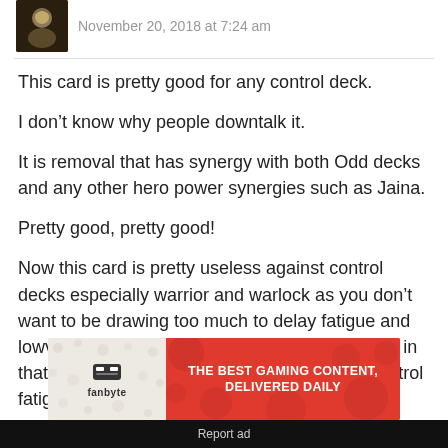November 20, 2018 at 7:24 am
This card is pretty good for any control deck.
I don't know why people downtalk it.
It is removal that has synergy with both Odd decks and any other hero power synergies such as Jaina.
Pretty good, pretty good!
Now this card is pretty useless against control decks especially warrior and warlock as you don't want to be drawing too much to delay fatigue and lowvalue cards like these are pretty bad in hand in that case. I doubt this will see play in purely control fatigue
[Figure (infographic): Fanbyte advertisement banner: left side shows fanbyte logo on light background, right side shows red background with text 'THE BEST GAMING CONTENT, DELIVERED DAILY']
Report ad